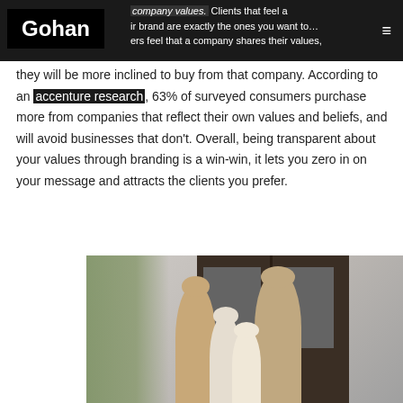Gohan
company values. Clients that feel a connection to your brand are exactly the ones you want to attract. If consumers feel that a company shares their values, they will be more inclined to buy from that company. According to an accenture research, 63% of surveyed consumers purchase more from companies that reflect their own values and beliefs, and will avoid businesses that don't. Overall, being transparent about your values through branding is a win-win, it lets you zero in on your message and attracts the clients you prefer.
[Figure (photo): A happy family of four (two adults and two children) standing in front of a dark-framed double entry door, with a plant visible on the left side]